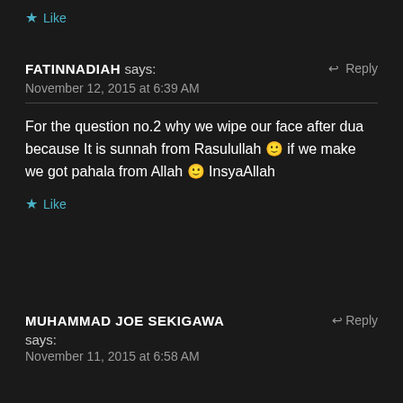★ Like
FATINNADIAH says: ↩ Reply
November 12, 2015 at 6:39 AM
For the question no.2 why we wipe our face after dua because It is sunnah from Rasulullah 🙂 if we make we got pahala from Allah 🙂 InsyaAllah
★ Like
MUHAMMAD JOE SEKIGAWA says: ↩ Reply
November 11, 2015 at 6:58 AM